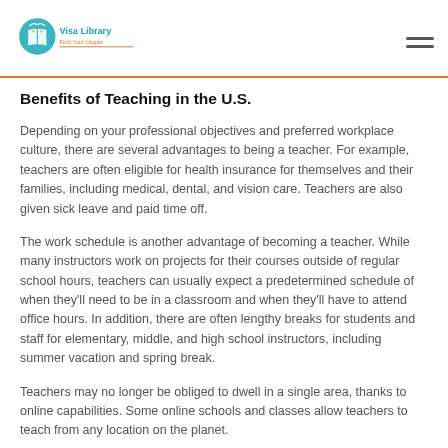Visa Library - Find Your Utopia
Benefits of Teaching in the U.S.
Depending on your professional objectives and preferred workplace culture, there are several advantages to being a teacher. For example, teachers are often eligible for health insurance for themselves and their families, including medical, dental, and vision care. Teachers are also given sick leave and paid time off.
The work schedule is another advantage of becoming a teacher. While many instructors work on projects for their courses outside of regular school hours, teachers can usually expect a predetermined schedule of when they’ll need to be in a classroom and when they’ll have to attend office hours. In addition, there are often lengthy breaks for students and staff for elementary, middle, and high school instructors, including summer vacation and spring break.
Teachers may no longer be obliged to dwell in a single area, thanks to online capabilities. Some online schools and classes allow teachers to teach from any location on the planet.